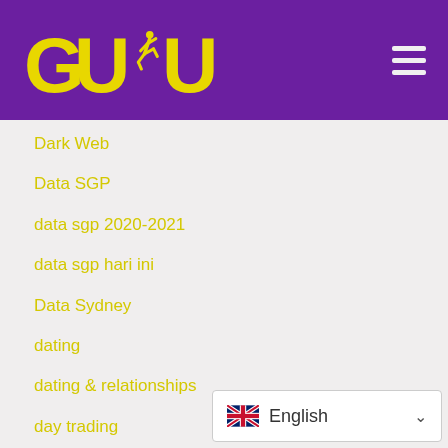[Figure (logo): GUDU logo with running figure, yellow text on purple background]
Dark Web
Data SGP
data sgp 2020-2021
data sgp hari ini
Data Sydney
dating
dating & relationships
day trading
dd
dealer management software
Death and Dying
Debt Consolidation
[Figure (screenshot): English language selector dropdown with UK flag]